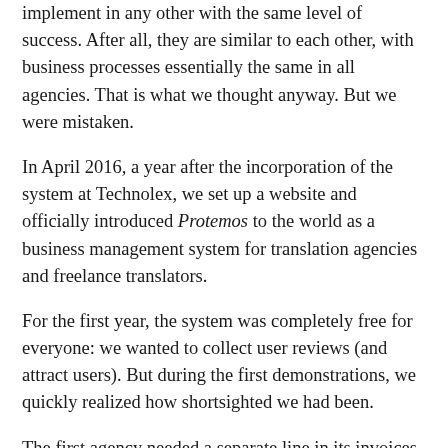implement in any other with the same level of success. After all, they are similar to each other, with business processes essentially the same in all agencies. That is what we thought anyway. But we were mistaken.
In April 2016, a year after the incorporation of the system at Technolex, we set up a website and officially introduced Protemos to the world as a business management system for translation agencies and freelance translators.
For the first year, the system was completely free for everyone: we wanted to collect user reviews (and attract users). But during the first demonstrations, we quickly realized how shortsighted we had been.
The first agency needed a separate line in its invoices for VAT, and they would not consider using the system until this feature was added.  The second wanted the option of creating commercial offers directly in the system. The third did not like the document templates. The fourth required integration with CAT systems, etc. And it was impossible to